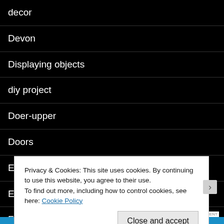decor
Devon
Displaying objects
diy project
Doer-upper
Doors
Eccentric
Edouard Vuillard
Faux Flowers
Privacy & Cookies: This site uses cookies. By continuing to use this website, you agree to their use.
To find out more, including how to control cookies, see here: Cookie Policy
Close and accept